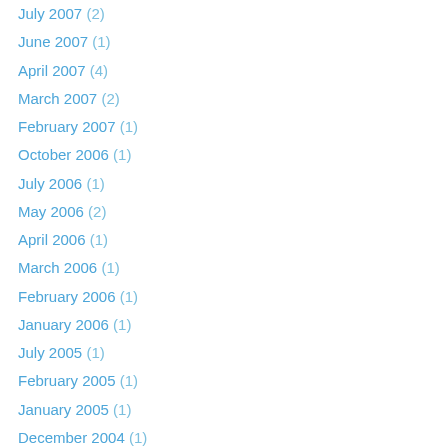July 2007 (2)
June 2007 (1)
April 2007 (4)
March 2007 (2)
February 2007 (1)
October 2006 (1)
July 2006 (1)
May 2006 (2)
April 2006 (1)
March 2006 (1)
February 2006 (1)
January 2006 (1)
July 2005 (1)
February 2005 (1)
January 2005 (1)
December 2004 (1)
October 2004 (1)
August 2004 (1)
May 2004 (1)